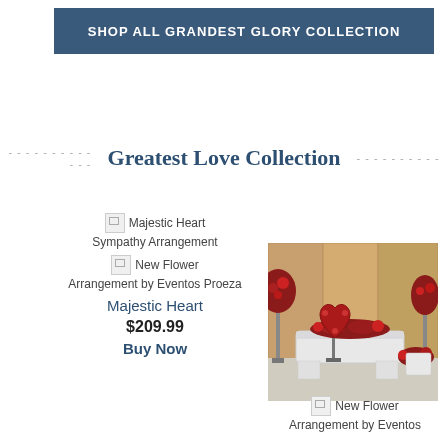SHOP ALL GRANDEST GLORY COLLECTION
Greatest Love Collection
Majestic Heart Sympathy Arrangement
New Flower Arrangement by Eventos Proeza
Majestic Heart
$209.99
Buy Now
[Figure (photo): Funeral flower arrangement with casket, red roses, heart-shaped wreath, and floral stands in a wood-paneled room]
New Flower Arrangement by Eventos
Arrangement by Eventos